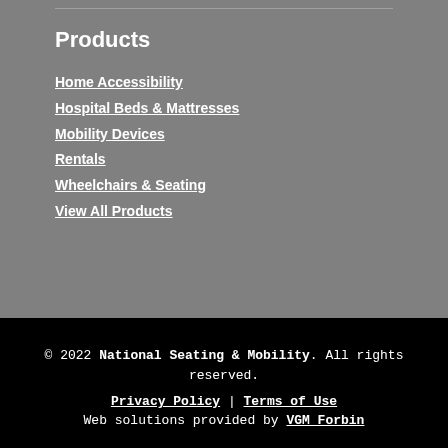Products
Home Accessibility
Hospital Beds & Mattresses
Mobility Devices
Rentals
Wheelchairs & Seating
View All Products
© 2022 National Seating & Mobility. All rights reserved. Privacy Policy | Terms of Use Web solutions provided by VGM Forbin